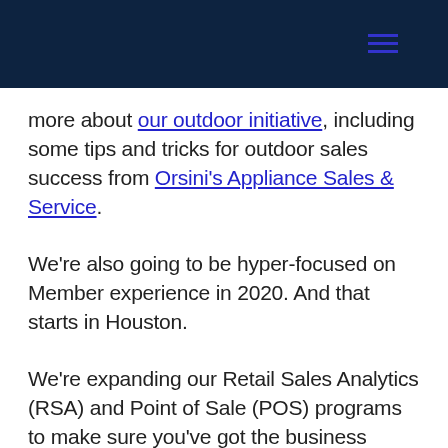[navigation header with hamburger menu]
more about our outdoor initiative, including some tips and tricks for outdoor sales success from Orsini's Appliance Sales & Service.
We're also going to be hyper-focused on Member experience in 2020. And that starts in Houston.
We're expanding our Retail Sales Analytics (RSA) and Point of Sale (POS) programs to make sure you've got the business intelligence you need to help